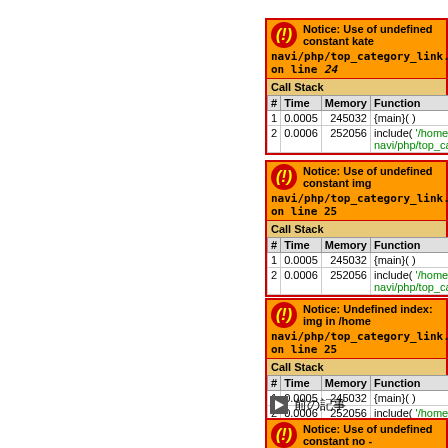[Figure (screenshot): PHP Notice: Use of undefined constant kate - navi/php/top_category_link.php on line 24, with Call Stack table]
| # | Time | Memory | Function |
| --- | --- | --- | --- |
| 1 | 0.0005 | 245032 | {main}( ) |
| 2 | 0.0006 | 252056 | include( '/home/users/2/allm navi/php/top_category_link... |
[Figure (screenshot): PHP Notice: Use of undefined constant img - navi/php/top_category_link.php on line 25, with Call Stack table]
| # | Time | Memory | Function |
| --- | --- | --- | --- |
| 1 | 0.0005 | 245032 | {main}( ) |
| 2 | 0.0006 | 252056 | include( '/home/users/2/allm navi/php/top_category_link... |
[Figure (screenshot): PHP Notice: Undefined index: img in /home... navi/php/top_category_link.php on line 25, with Call Stack table]
| # | Time | Memory | Function |
| --- | --- | --- | --- |
| 1 | 0.0005 | 245032 | {main}( ) |
| 2 | 0.0006 | 252056 | include( '/home/users/2/allnav navi/php/top_category_link.p... |
▶ 前の記事
[Figure (screenshot): PHP Notice: Use of undefined constant no - partial, cut off at bottom]